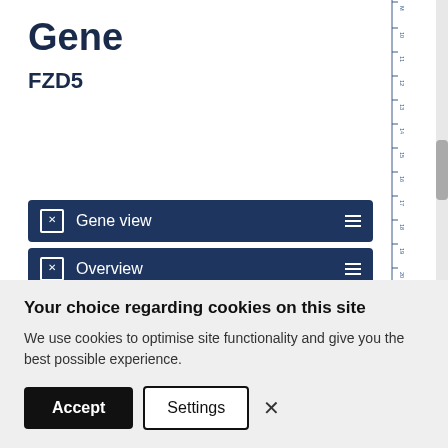Gene
FZD5
Gene view
Overview
External links
Drug resistance
Tissue distribution
Genome browser
Mutation distribution
Your choice regarding cookies on this site
We use cookies to optimise site functionality and give you the best possible experience.
Accept | Settings | ×